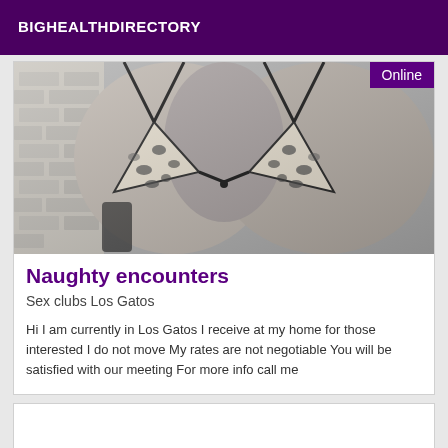BIGHEALTHDIRECTORY
[Figure (photo): Black and white photo of a person wearing a leopard print bikini top, standing against a brick wall. An 'Online' badge appears in the top right corner of the image.]
Naughty encounters
Sex clubs Los Gatos
Hi I am currently in Los Gatos I receive at my home for those interested I do not move My rates are not negotiable You will be satisfied with our meeting For more info call me